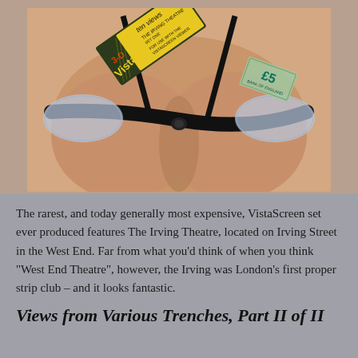[Figure (photo): Close-up photo of a woman's cleavage/chest area wearing a black bra with lace details. A vintage '3-D VistaScreen' card/box (yellow and dark green, reading 'ten views', 'The Irving Theatre', 'For use with the VistaScreen Viewer', 'Set One') is tucked into the bra strap, along with a folded £5 note.]
The rarest, and today generally most expensive, VistaScreen set ever produced features The Irving Theatre, located on Irving Street in the West End. Far from what you'd think of when you think "West End Theatre", however, the Irving was London's first proper strip club – and it looks fantastic.
Views from Various Trenches, Part II of II